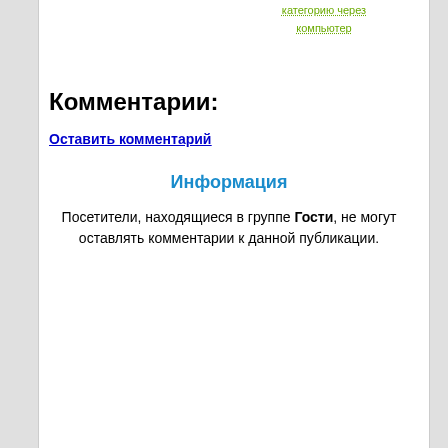категорию через компьютер
Комментарии:
Оставить комментарий
Информация
Посетители, находящиеся в группе Гости, не могут оставлять комментарии к данной публикации.